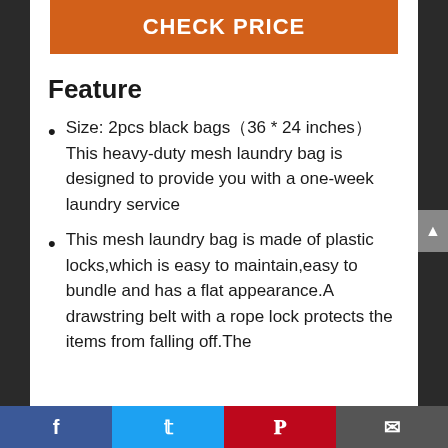CHECK PRICE
Feature
Size: 2pcs black bags（36 * 24 inches）This heavy-duty mesh laundry bag is designed to provide you with a one-week laundry service
This mesh laundry bag is made of plastic locks,which is easy to maintain,easy to bundle and has a flat appearance.A drawstring belt with a rope lock protects the items from falling off.The continue below...
Facebook | Twitter | Pinterest | Email